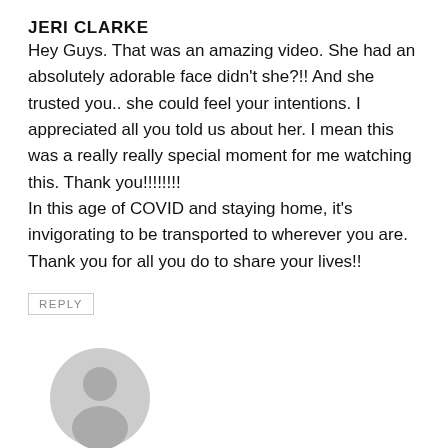JERI CLARKE
Hey Guys. That was an amazing video. She had an absolutely adorable face didn't she?!! And she trusted you.. she could feel your intentions. I appreciated all you told us about her. I mean this was a really really special moment for me watching this. Thank you!!!!!!!!
In this age of COVID and staying home, it's invigorating to be transported to wherever you are. Thank you for all you do to share your lives!!
REPLY
[Figure (illustration): Generic user avatar icon — grey circle with a stylized person silhouette]